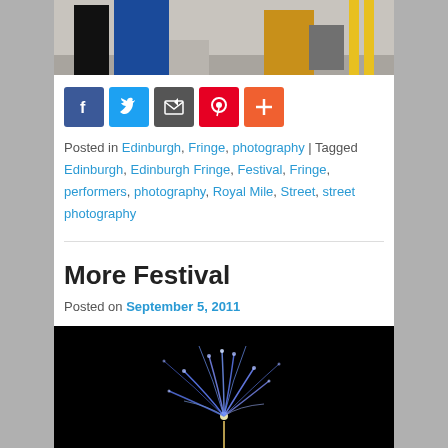[Figure (photo): Top portion of a street photo showing people's legs/lower bodies on a pavement, with yellow road markings visible on the right side. One person in blue trousers, one in black, one in yellow/mustard clothing.]
[Figure (infographic): Social sharing buttons row: Facebook (blue), Twitter (blue), Email/share (dark grey), Pinterest (red), More/plus (orange-red)]
Posted in Edinburgh, Fringe, photography | Tagged Edinburgh, Edinburgh Fringe, Festival, Fringe, performers, photography, Royal Mile, Street, street photography
More Festival
Posted on September 5, 2011
[Figure (photo): Fireworks photo against a dark/black night sky, showing blue and white fireworks bursting upward with streaks of light.]